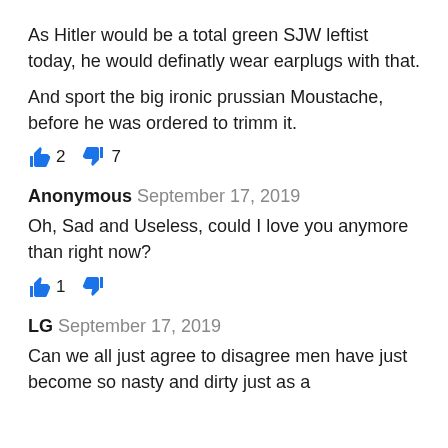As Hitler would be a total green SJW leftist today, he would definatly wear earplugs with that.
And sport the big ironic prussian Moustache, before he was ordered to trimm it.
👍 2  👎 7
Anonymous September 17, 2019
Oh, Sad and Useless, could I love you anymore than right now?
👍 1  👎
LG September 17, 2019
Can we all just agree to disagree men have just become so nasty and dirty just as a